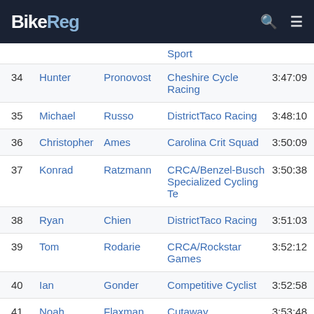BikeReg
| # | First | Last | Team | Time |
| --- | --- | --- | --- | --- |
|  |  |  | Sport |  |
| 34 | Hunter | Pronovost | Cheshire Cycle Racing | 3:47:09 |
| 35 | Michael | Russo | DistrictTaco Racing | 3:48:10 |
| 36 | Christopher | Ames | Carolina Crit Squad | 3:50:09 |
| 37 | Konrad | Ratzmann | CRCA/Benzel-Busch Specialized Cycling Te | 3:50:38 |
| 38 | Ryan | Chien | DistrictTaco Racing | 3:51:03 |
| 39 | Tom | Rodarie | CRCA/Rockstar Games | 3:52:12 |
| 40 | Ian | Gonder | Competitive Cyclist | 3:52:58 |
| 41 | Noah | Flaxman | Cutaway | 3:53:48 |
| 42 | Adam | Kollender | CRCA/Dave Jordan Racing | 3:54:38 |
| 43 | Colin | Murphy | Boston Racing | 3:55:12 |